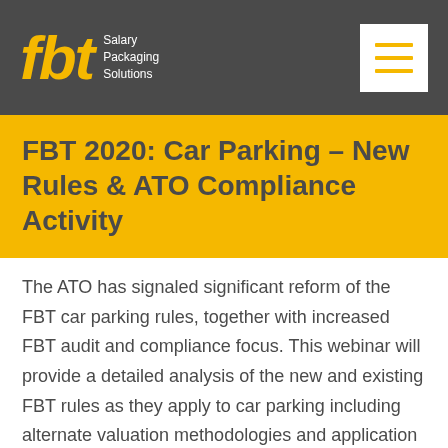fbt Salary Packaging Solutions
FBT 2020: Car Parking – New Rules & ATO Compliance Activity
The ATO has signaled significant reform of the FBT car parking rules, together with increased FBT audit and compliance focus. This webinar will provide a detailed analysis of the new and existing FBT rules as they apply to car parking including alternate valuation methodologies and application of the concessions and exemptions.